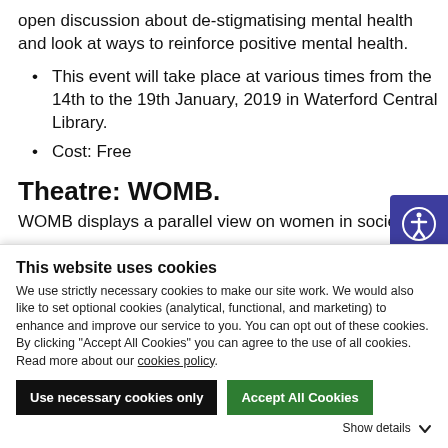open discussion about de-stigmatising mental health and look at ways to reinforce positive mental health.
This event will take place at various times from the 14th to the 19th January, 2019 in Waterford Central Library.
Cost: Free
Theatre: WOMB.
WOMB displays a parallel view on women in society. Set
This website uses cookies
We use strictly necessary cookies to make our site work. We would also like to set optional cookies (analytical, functional, and marketing) to enhance and improve our service to you. You can opt out of these cookies. By clicking “Accept All Cookies” you can agree to the use of all cookies. Read more about our cookies policy.
Use necessary cookies only
Accept All Cookies
Show details